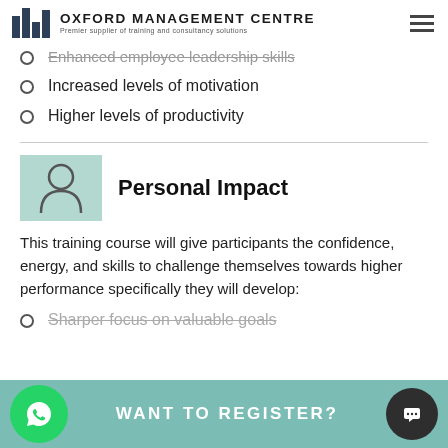OXFORD MANAGEMENT CENTRE — Premier supplier of training and consultancy solutions
Enhanced employee leadership skills
Increased levels of motivation
Higher levels of productivity
Personal Impact
This training course will give participants the confidence, energy, and skills to challenge themselves towards higher performance specifically they will develop:
Sharper focus on valuable goals
WANT TO REGISTER?